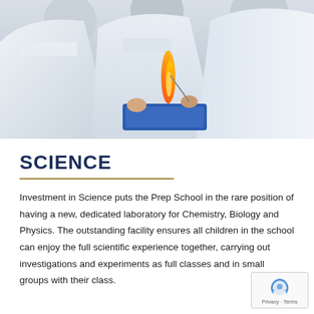[Figure (photo): Students in white lab coats conducting a science experiment in a laboratory, appearing to hold a burning flame or chemical reaction over a blue tray]
SCIENCE
Investment in Science puts the Prep School in the rare position of having a new, dedicated laboratory for Chemistry, Biology and Physics. The outstanding facility ensures all children in the school can enjoy the full scientific experience together, carrying out investigations and experiments as full classes and in small groups with their class.